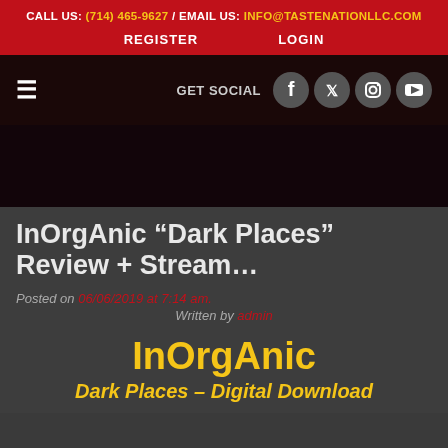CALL US: (714) 465-9627 / EMAIL US: INFO@TASTENATIONLLC.COM
REGISTER   LOGIN
[Figure (screenshot): Dark navigation bar with hamburger menu icon, GET SOCIAL label, and four social media icons (Facebook, Twitter, Instagram, YouTube) as white icons on dark circular backgrounds]
[Figure (photo): Dark hero/banner area with very dark reddish-black background, no visible text]
InOrgAnic “Dark Places” Review + Stream…
Posted on 06/06/2019 at 7:14 am.
Written by admin
InOrgAnic
Dark Places – Digital Download